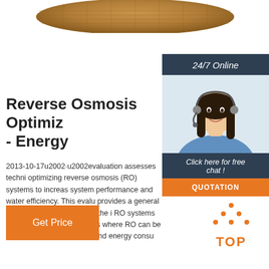[Figure (photo): Top portion of a woven basket or hat with tan/brown texture, partially cropped at top of page]
[Figure (photo): 24/7 Online chat widget sidebar showing a woman with headset smiling, dark blue background with 'Click here for free chat!' text and orange QUOTATION button]
Reverse Osmosis Optimiz - Energy
2013-10-17u2002·u2002evaluation assesses techni optimizing reverse osmosis (RO) systems to increas system performance and water efficiency. This evalu provides a general description of RO systems, the i RO systems on water use, and key areas where RO can be optimized to reduce water and energy consu
[Figure (other): Orange 'Get Price' button]
[Figure (logo): TOP logo with orange dots forming a triangle above the word TOP in orange]